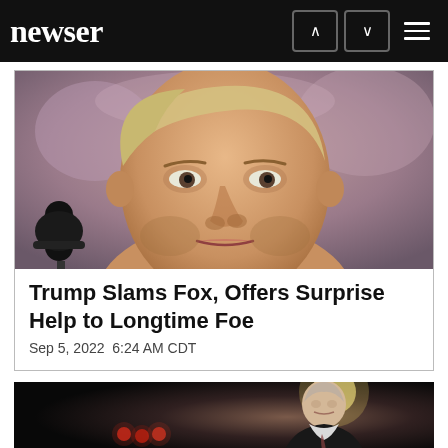newser
[Figure (photo): Close-up photo of Donald Trump at a microphone, crowd in background]
Trump Slams Fox, Offers Surprise Help to Longtime Foe
Sep 5, 2022  6:24 AM CDT
[Figure (photo): Man on dark stage with red lights in background]